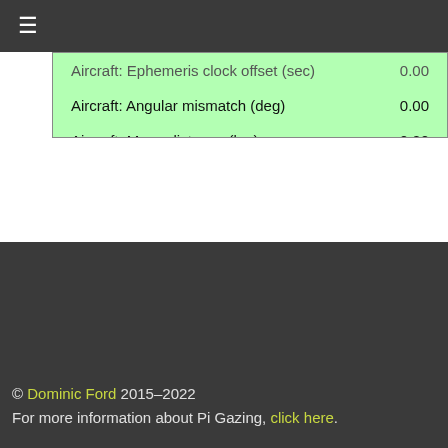≡
| Parameter | Value |
| --- | --- |
| Aircraft: Ephemeris clock offset (sec) | 0.00 |
| Aircraft: Angular mismatch (deg) | 0.00 |
| Aircraft: Mean distance (km) | 0.00 |
| Aircraft: Mean altitude (km) | 0.00 |
| Aircraft: Path | [null, null] |
| Aircraft: Track length (deg) | 0.81 |
| plane:operator | 0.00 |
| plane:model | 0.00 |
| plane:manufacturer | 0.00 |
© Dominic Ford 2015–2022
For more information about Pi Gazing, click here.